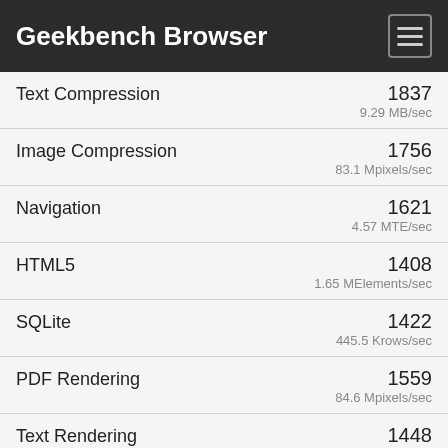Geekbench Browser
| Benchmark | Score | Unit |
| --- | --- | --- |
| Text Compression | 1837 | 9.29 MB/sec |
| Image Compression | 1756 | 83.1 Mpixels/sec |
| Navigation | 1621 | 4.57 MTE/sec |
| HTML5 | 1408 | 1.65 MElements/sec |
| SQLite | 1422 | 445.5 Krows/sec |
| PDF Rendering | 1559 | 84.6 Mpixels/sec |
| Text Rendering | 1448 | 461.4 KB/sec |
| Clang | 1538 | 12.0 Klines/sec |